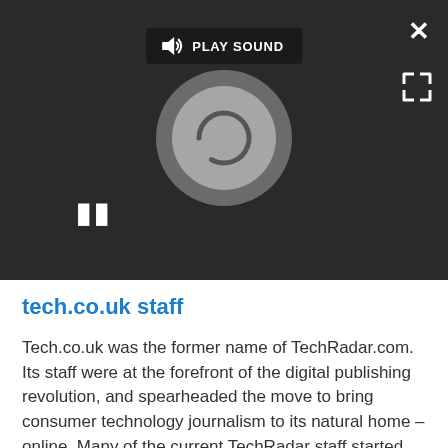[Figure (screenshot): Dark video player overlay with 'PLAY SOUND' button bar at top, a loading spinner circle in the center, a pause button (II) at bottom left, a close X button at top right, and an expand icon at bottom right.]
tech.co.uk staff
Tech.co.uk was the former name of TechRadar.com. Its staff were at the forefront of the digital publishing revolution, and spearheaded the move to bring consumer technology journalism to its natural home – online. Many of the current TechRadar staff started life a Tech.co.uk staff writer, covering everything from the emerging smartphone market to the evolving market of personal computers. Think of it as the building blocks of